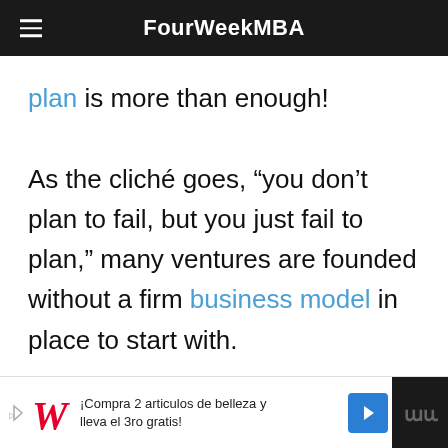FourWeekMBA
plan is more than enough!

As the cliché goes, “you don’t plan to fail, but you just fail to plan,” many ventures are founded without a firm business model in place to start with.
[Figure (other): Advertisement banner: Walgreens ad with text ¡Compra 2 articulos de belleza y lleva el 3ro gratis!]